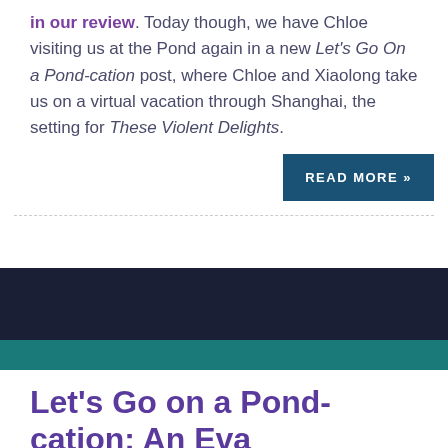in our review. Today though, we have Chloe visiting us at the Pond again in a new Let's Go On a Pond-cation post, where Chloe and Xiaolong take us on a virtual vacation through Shanghai, the setting for These Violent Delights.
READ MORE »
Let's Go on a Pond-cation: An Eva Evergreen-Inspired